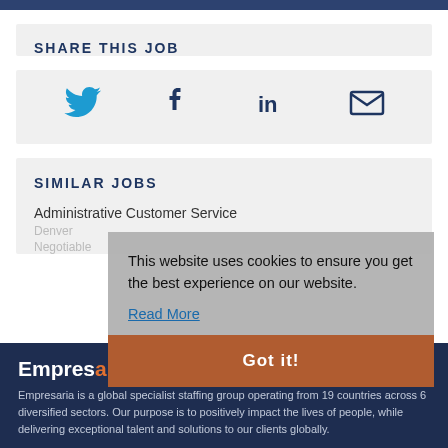SHARE THIS JOB
[Figure (infographic): Social sharing icons: Twitter (bird), Facebook (f), LinkedIn (in), Email (envelope)]
SIMILAR JOBS
Administrative Customer Service
Denver
Negotiable
This website uses cookies to ensure you get the best experience on our website.
Read More
Got it!
Empresaria
Empresaria is a global specialist staffing group operating from 19 countries across 6 diversified sectors. Our purpose is to positively impact the lives of people, while delivering exceptional talent and solutions to our clients globally.